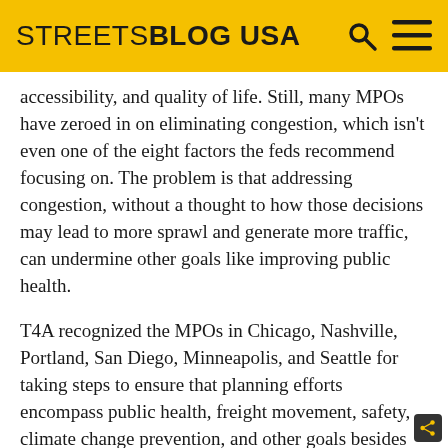STREETSBLOG USA
accessibility, and quality of life. Still, many MPOs have zeroed in on eliminating congestion, which isn't even one of the eight factors the feds recommend focusing on. The problem is that addressing congestion, without a thought to how those decisions may lead to more sprawl and generate more traffic, can undermine other goals like improving public health.
T4A recognized the MPOs in Chicago, Nashville, Portland, San Diego, Minneapolis, and Seattle for taking steps to ensure that planning efforts encompass public health, freight movement, safety, climate change prevention, and other goals besides moving cars.